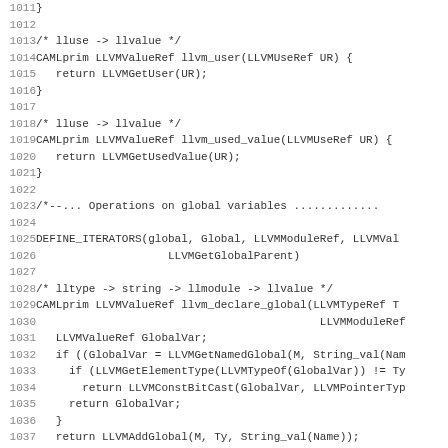[Figure (other): Source code listing in C with line numbers 1011-1043, showing LLVM bindings including llvm_user, llvm_used_value, DEFINE_ITERATORS for global variables, and llvm_declare_global functions]